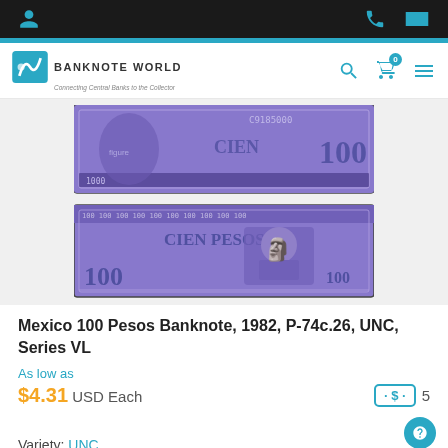Banknote World — Connecting Central Banks to the Collector
[Figure (photo): Mexico 100 Pesos banknote front and back, purple/violet color, showing 'CIEN PESOS' text and '100' denomination, serial C9185000]
Mexico 100 Pesos Banknote, 1982, P-74c.26, UNC, Series VL
As low as
$4.31 USD Each  5
Variety: UNC